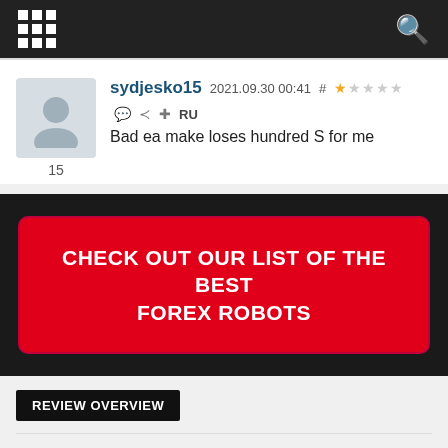Navigation bar with grid menu icon and search icon
sydjesko15 2021.09.30 00:41 # ★☆☆☆☆ RU
Bad ea make loses hundred S for me
15
[Figure (other): Red CTA button on dark background: CHECK OUT OUR LIST OF THE BEST FOREX ROBOTS]
REVIEW OVERVIEW
Overall rating ★★★☆☆
SUMMARY